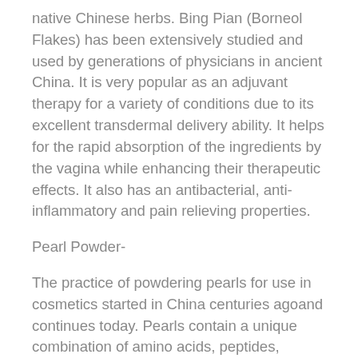native Chinese herbs. Bing Pian (Borneol Flakes) has been extensively studied and used by generations of physicians in ancient China. It is very popular as an adjuvant therapy for a variety of conditions due to its excellent transdermal delivery ability. It helps for the rapid absorption of the ingredients by the vagina while enhancing their therapeutic effects. It also has an antibacterial, anti-inflammatory and pain relieving properties.
Pearl Powder-
The practice of powdering pearls for use in cosmetics started in China centuries agoand continues today. Pearls contain a unique combination of amino acids, peptides, vitamins & trace minerals that nourish & strengthens the skin, encourages cell renewal & helps to keep the skin soft, supple, and retain its moisture. It contains 10 amino acids which help maintain cell nutrition & are essential building blocks for cell